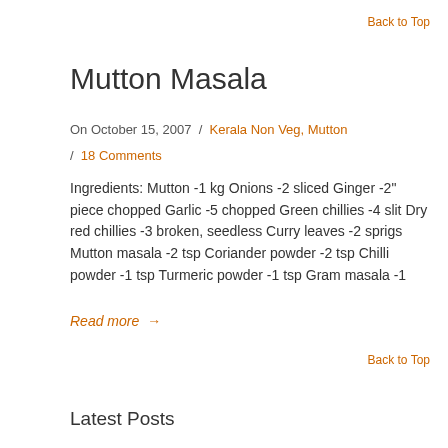Back to Top
Mutton Masala
On October 15, 2007  /  Kerala Non Veg, Mutton  /  18 Comments
Ingredients: Mutton -1 kg Onions -2 sliced Ginger -2" piece chopped Garlic -5 chopped Green chillies -4 slit Dry red chillies -3 broken, seedless Curry leaves -2 sprigs Mutton masala -2 tsp Coriander powder -2 tsp Chilli powder -1 tsp Turmeric powder -1 tsp Gram masala -1
Read more  →
Back to Top
Latest Posts